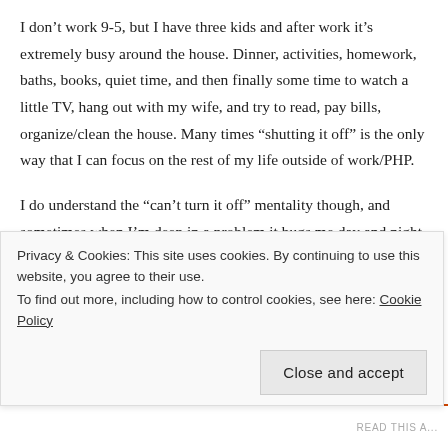I don’t work 9-5, but I have three kids and after work it’s extremely busy around the house. Dinner, activities, homework, baths, books, quiet time, and then finally some time to watch a little TV, hang out with my wife, and try to read, pay bills, organize/clean the house. Many times “shutting it off” is the only way that I can focus on the rest of my life outside of work/PHP.
I do understand the “can’t turn it off” mentality though, and sometimes when I’m deep in a problem it bugs me day and night until I can figure it out.
The best thing is when you work for an amazing company that you totally love — then I’m driven 24/7 to do better 🙂
Privacy & Cookies: This site uses cookies. By continuing to use this website, you agree to their use.
To find out more, including how to control cookies, see here: Cookie Policy
Close and accept